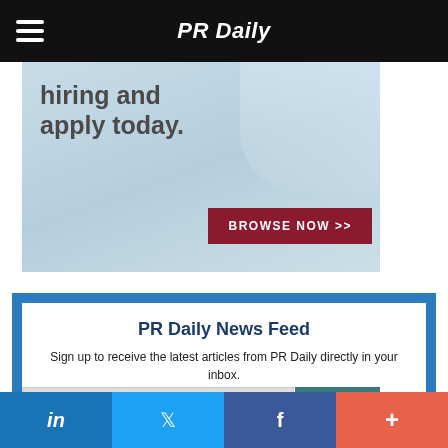PR Daily
[Figure (photo): Advertisement banner with text 'hiring and apply today.' and a BROWSE NOW >> button on dark red background. Person working on laptop in background.]
PR Daily News Feed
Sign up to receive the latest articles from PR Daily directly in your inbox.
Enter your email address
Today's Headlines
I accept Terms of Use
[Figure (screenshot): Partial bottom content area with image visible]
in  f +